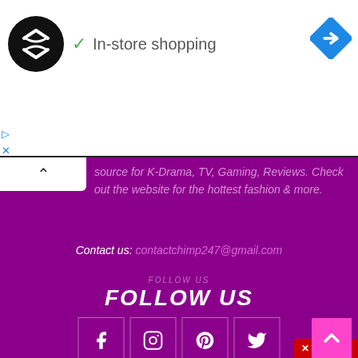[Figure (logo): Black circle logo with double arrow/infinity icon (Loop/Chimp brand)]
✓ In-store shopping
[Figure (other): Blue diamond navigation icon with right arrow]
▷
✕
source for K-Drama, TV, Gaming, Reviews. Check out the website for the hottest fashion & more.
Contact us: contactchimp247@gmail.com
FOLLOW US
[Figure (other): Social media icons: Facebook, Instagram, Pinterest, Twitter]
✕ CLOSE